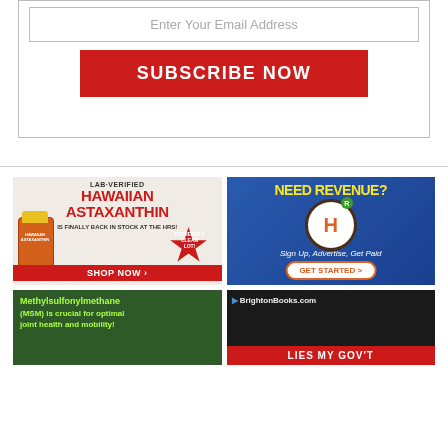Enter Your Email Address
SUBSCRIBE NOW
[Figure (advertisement): Hawaiian Astaxanthin supplement ad: LAB-VERIFIED HAWAIIAN ASTAXANTHIN IS FINALLY BACK IN STOCK AT THE HRS! EXTREMELY CLEAN LOT! SHOP NOW >]
[Figure (advertisement): Need Revenue? H logo with R badge. Sign Up, Advertise, Get Paid. GET STARTED >]
[Figure (advertisement): Methylsulfonylmethane (MSM) is crucial for optimal joint health and mobility!]
[Figure (advertisement): BrightonBooks.com LIES MY GOV'T]